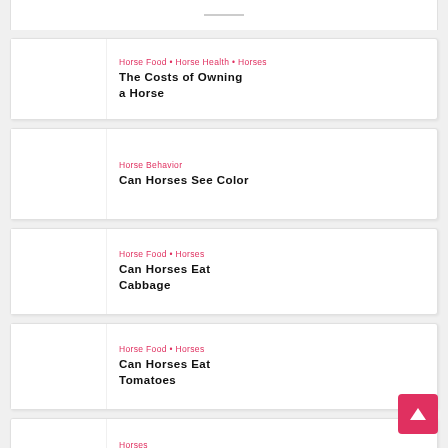[Figure (other): Truncated top card image area]
Horse Food • Horse Health • Horses
The Costs of Owning a Horse
Horse Behavior
Can Horses See Color
Horse Food • Horses
Can Horses Eat Cabbage
Horse Food • Horses
Can Horses Eat Tomatoes
Horses
Top Ten Fastest